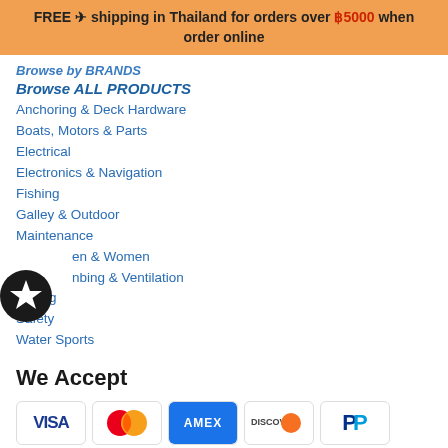FREE ✈ shipping in Thailand for orders over ฿5000 when order online
Browse by BRANDS
Browse ALL PRODUCTS
Anchoring & Deck Hardware
Boats, Motors & Parts
Electrical
Electronics & Navigation
Fishing
Galley & Outdoor
Maintenance
Men & Women
Plumbing & Ventilation
Sailing
Safety
Water Sports
We Accept
[Figure (other): Payment method logos: Visa, Mastercard, American Express, Discover, PayPal]